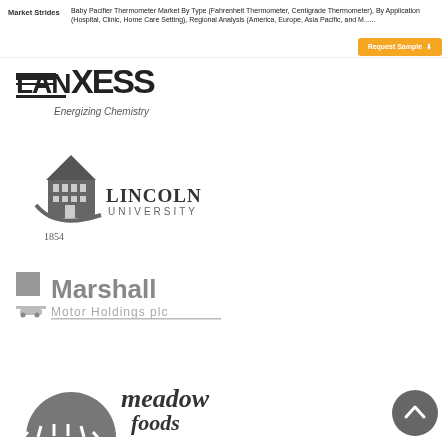Market Strides | Baby Pacifier Thermometer Market By Type (Fahrenheit Thermometer, Centigrade Thermometer), By Application (Hospital, Clinic, Home Care Setting), Regional Analysis (America, Europe, Asia Pacific, and M......
[Figure (logo): LANXESS logo - Energizing Chemistry]
[Figure (logo): Lincoln University 1854 logo]
[Figure (logo): Marshall Motor Holdings plc logo]
[Figure (logo): meadow foods logo]